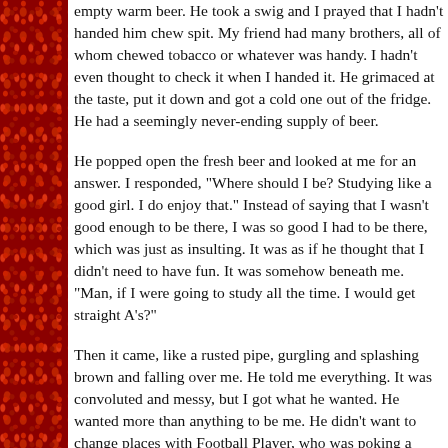empty warm beer. He took a swig and I prayed that I hadn't handed him chew spit. My friend had many brothers, all of whom chewed tobacco or whatever was handy. I hadn't even thought to check it when I handed it. He grimaced at the taste, put it down and got a cold one out of the fridge. He had a seemingly never-ending supply of beer.
He popped open the fresh beer and looked at me for an answer. I responded, "Where should I be? Studying like a good girl. I do enjoy that." Instead of saying that I wasn't good enough to be there, I was so good I had to be there, which was just as insulting. It was as if he thought that I didn't need to have fun. It was somehow beneath me. "Man, if I were going to study all the time. I would get straight A's?"
Then it came, like a rusted pipe, gurgling and splashing brown and falling over me. He told me everything. It was convoluted and messy, but I got what he wanted. He wanted more than anything to be me. He didn't want to change places with Football Player, who was poking a cheerleader as we spoke. Didn't want to change places with the skater that we knew that went professional and getting paid to play. He wanted to change places with me because I had it all and he didn't.
He had seen a lawyer on television. I don't think it was an actor playing one. I think it was a real lawyer who was defending someone here in Sacramento. Calvin had been inspired by this man. This lawyer, who was probably just a publicity-hound ambulance chaser, represented the epitome of success for him. "If I could be a lawyer, I could do some good. I could talk to anyone. I'd be so perfect that no one could argue with me. See, if I was you, I would study more and get to be a lawyer. Nothing could stop me then?" He trailed off...